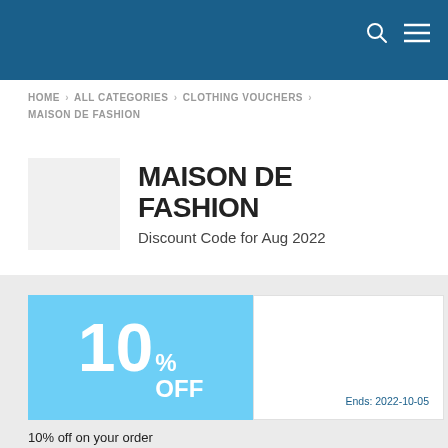HOME › ALL CATEGORIES › CLOTHING VOUCHERS › MAISON DE FASHION
MAISON DE FASHION
Discount Code for Aug 2022
[Figure (other): 10% OFF coupon badge in light blue]
Ends: 2022-10-05
10% off on your order